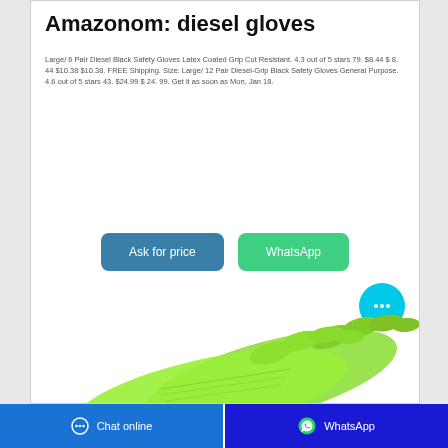Amazonom: diesel gloves
Large/ 6 Pair Diesel Black Safety Gloves Latex Coated Grip Cut Resistant. 4.3 out of 5 stars 79. $8.44 $ 8. 44 $10.38 $10.38. FREE Shipping. Size: Large/ 12 Pair Diesel-Grip Black Safety Gloves General Purpose. 4.6 out of 5 stars 43. $24.99 $ 24. 99. Get it as soon as Mon, Jan 18.
[Figure (other): Two green latex safety gloves shown fanned out]
[Figure (other): Cyan chat bubble icon with ellipsis (...)]
Chat online   WhatsApp